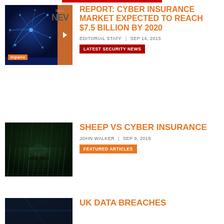[Figure (other): Decorative top red bar]
[Figure (illustration): Network/cyber graphic with Tripwire branding and NEW badge]
REPORT: CYBER INSURANCE MARKET EXPECTED TO REACH $7.5 BILLION BY 2020
EDITORIAL STAFF | SEP 14, 2015
LATEST SECURITY NEWS
[Figure (photo): Person with umbrella in stormy dramatic rain scene]
SHEEP VS CYBER INSURANCE
JOHN WALKER | SEP 9, 2015
FEATURED ARTICLES
[Figure (photo): Dark blue abstract image for UK Data Breaches article]
UK DATA BREACHES